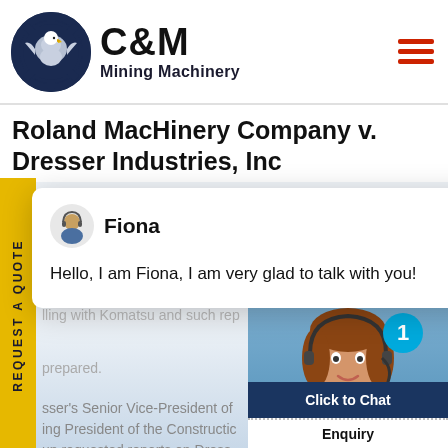[Figure (logo): C&M Mining Machinery logo with eagle gear icon]
Roland MacHinery Company v. Dresser Industries, Inc
[Figure (screenshot): Chat popup with avatar Fiona saying: Hello, I am Fiona, I am very glad to talk with you!]
sser's Senior Vice-President of ing President of the Construction up requested reports on Dress lling with Komatsu and such rep prepared.
[Figure (photo): Customer service representative with headset, Click to Chat button, Enquiry label]